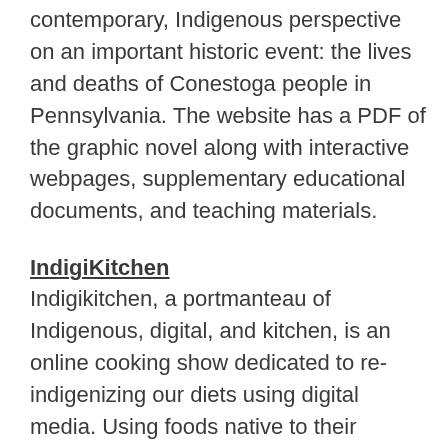contemporary, Indigenous perspective on an important historic event: the lives and deaths of Conestoga people in Pennsylvania. The website has a PDF of the graphic novel along with interactive webpages, supplementary educational documents, and teaching materials.
IndigiKitchen
Indigikitchen, a portmanteau of Indigenous, digital, and kitchen, is an online cooking show dedicated to re-indigenizing our diets using digital media. Using foods native to their Americas, Indigikitchen gives viewers the